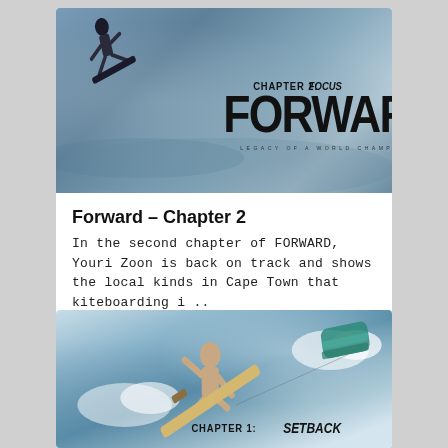[Figure (photo): Photo of a kiteboard/snowboard athlete airborne over water with text overlay: CHAPTER 2: FOCUS FORWARD – LEGACY OF A WORLD CHAMPION]
Forward – Chapter 2
In the second chapter of FORWARD, Youri Zoon is back on track and shows the local kinds in Cape Town that kiteboarding i ..
[Figure (photo): Photo of a kiteboard athlete performing a trick in the air with kite visible and text overlay: CHAPTER 1: SETBACK]